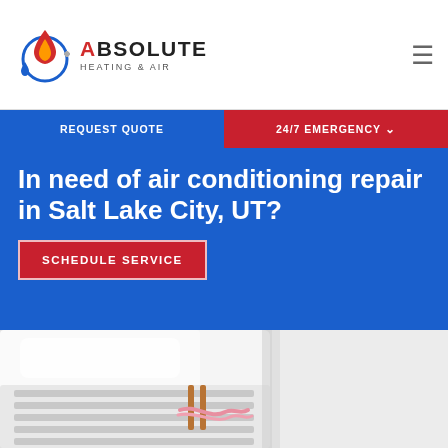Absolute Heating & Air — REQUEST QUOTE | 24/7 EMERGENCY
In need of air conditioning repair in Salt Lake City, UT?
SCHEDULE SERVICE
[Figure (photo): Close-up photo of a white air conditioning unit vent with copper pipes and a pink ribbon/filter material visible, on a light grey background]